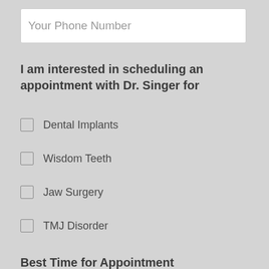Your Phone Number
I am interested in scheduling an appointment with Dr. Singer for
Dental Implants
Wisdom Teeth
Jaw Surgery
TMJ Disorder
Best Time for Appointment
Morning
Afternoon
Preferred Day of Week